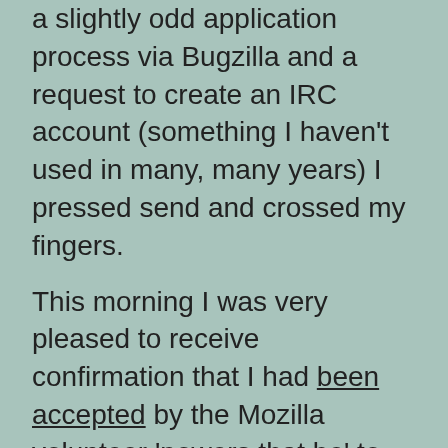a slightly odd application process via Bugzilla and a request to create an IRC account (something I haven't used in many, many years) I pressed send and crossed my fingers.
This morning I was very pleased to receive confirmation that I had been accepted by the Mozilla volunteer 'powers that be' to join the program and had been assigned a mentor (Majken) who will help me find a way to best contribute. I assume that one or more of the Mozillians I have met in person or via Twitter put a good word in for me so I might owe a couple of pints at the Festival in November!